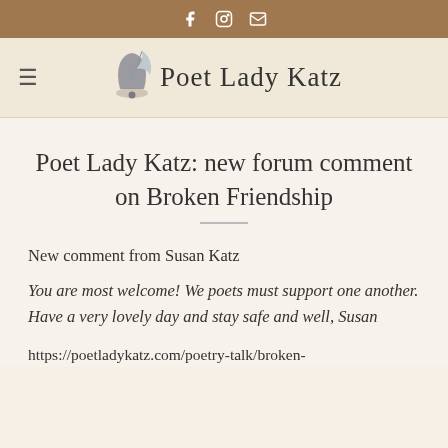f  [instagram]  [email]
[Figure (logo): Poet Lady Katz logo with quill pen and bell icon, handwritten style text]
Poet Lady Katz: new forum comment on Broken Friendship
New comment from Susan Katz
You are most welcome! We poets must support one another. Have a very lovely day and stay safe and well, Susan
https://poetladykatz.com/poetry-talk/broken-